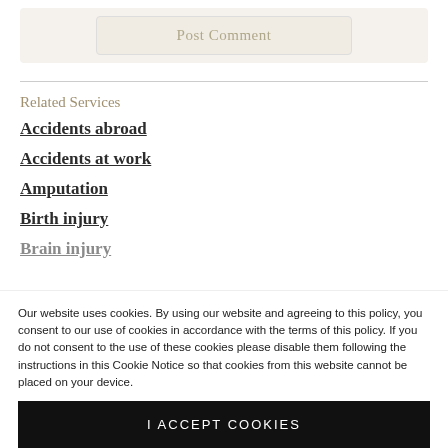Post Comment
Related Services
Accidents abroad
Accidents at work
Amputation
Birth injury
Brain injury
Our website uses cookies. By using our website and agreeing to this policy, you consent to our use of cookies in accordance with the terms of this policy. If you do not consent to the use of these cookies please disable them following the instructions in this Cookie Notice so that cookies from this website cannot be placed on your device.
I ACCEPT COOKIES